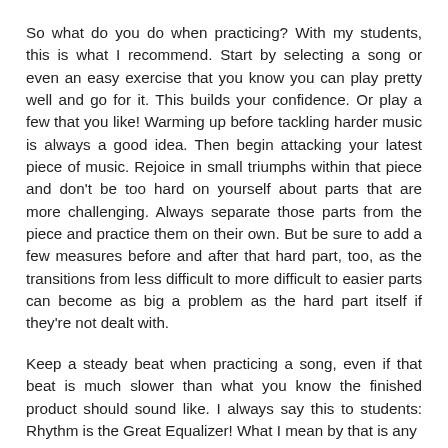So what do you do when practicing? With my students, this is what I recommend. Start by selecting a song or even an easy exercise that you know you can play pretty well and go for it. This builds your confidence. Or play a few that you like! Warming up before tackling harder music is always a good idea. Then begin attacking your latest piece of music. Rejoice in small triumphs within that piece and don't be too hard on yourself about parts that are more challenging. Always separate those parts from the piece and practice them on their own. But be sure to add a few measures before and after that hard part, too, as the transitions from less difficult to more difficult to easier parts can become as big a problem as the hard part itself if they're not dealt with.
Keep a steady beat when practicing a song, even if that beat is much slower than what you know the finished product should sound like. I always say this to students: Rhythm is the Great Equalizer! What I mean by that is any